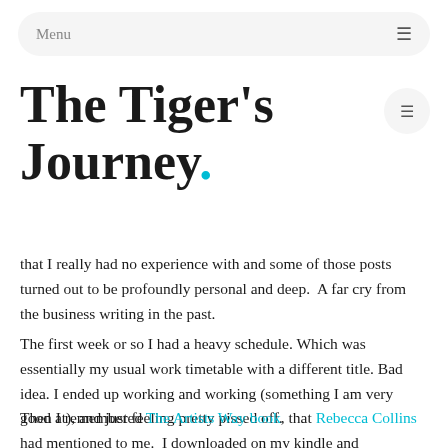Menu
The Tiger's Journey.
that I really had no experience with and some of those posts turned out to be profoundly personal and deep.  A far cry from the business writing in the past.
The first week or so I had a heavy schedule. Which was essentially my usual work timetable with a different title. Bad idea. I ended up working and working (something I am very good at), and just feeling pretty pissed off.
Then I remembered The Artists Way book, that Rebecca Collins had mentioned to me.  I downloaded on my kindle and had been following it ever since. I'll write about this in a